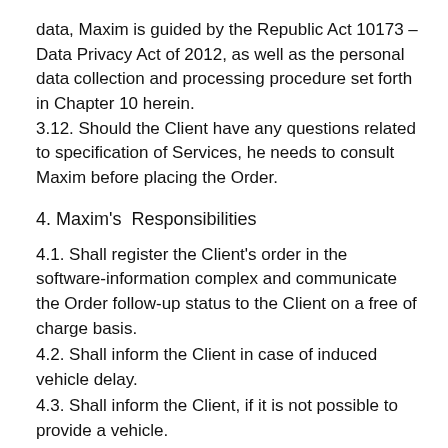data, Maxim is guided by the Republic Act 10173 – Data Privacy Act of 2012, as well as the personal data collection and processing procedure set forth in Chapter 10 herein. 3.12. Should the Client have any questions related to specification of Services, he needs to consult Maxim before placing the Order.
4. Maxim's  Responsibilities
4.1. Shall register the Client's order in the software-information complex and communicate the Order follow-up status to the Client on a free of charge basis.
4.2. Shall inform the Client in case of induced vehicle delay.
4.3. Shall inform the Client, if it is not possible to provide a vehicle.
4.4. Shall credit the Client's advance payments to the Personal account in due time.
4.5. Shall transfer payments from the Client's Personal Account to the Carrier's Personal Account at the Client's